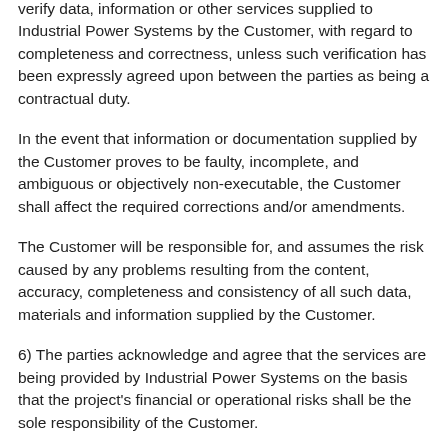verify data, information or other services supplied to Industrial Power Systems by the Customer, with regard to completeness and correctness, unless such verification has been expressly agreed upon between the parties as being a contractual duty.
In the event that information or documentation supplied by the Customer proves to be faulty, incomplete, and ambiguous or objectively non-executable, the Customer shall affect the required corrections and/or amendments.
The Customer will be responsible for, and assumes the risk caused by any problems resulting from the content, accuracy, completeness and consistency of all such data, materials and information supplied by the Customer.
6) The parties acknowledge and agree that the services are being provided by Industrial Power Systems on the basis that the project's financial or operational risks shall be the sole responsibility of the Customer.